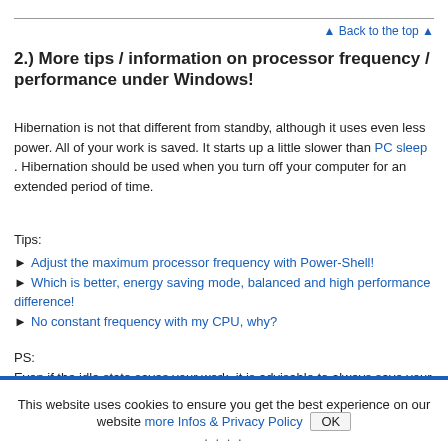▲ Back to the top ▲
2.) More tips / information on processor frequency / performance under Windows!
Hibernation is not that different from standby, although it uses even less power. All of your work is saved. It starts up a little slower than PC sleep . Hibernation should be used when you turn off your computer for an extended period of time.
Tips:
Adjust the maximum processor frequency with Power-Shell!
Which is better, energy saving mode, balanced and high performance difference!
No constant frequency with my CPU, why?
PS:
Even if the idle state saves your work, it is advisable to always save your open work, documents and image processing as often as possible. A hardware failure or a power outage or surge can cause you to lose your job.
This website uses cookies to ensure you get the best experience on our website more Infos & Privacy Policy OK
....